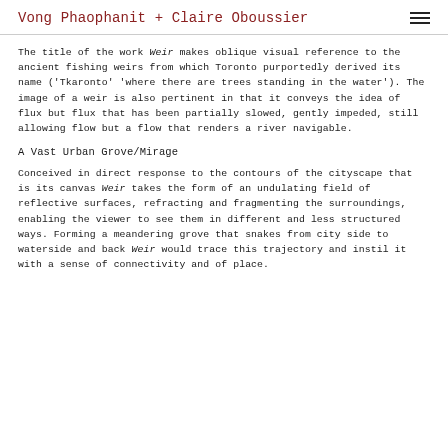Vong Phaophanit + Claire Oboussier
The title of the work Weir makes oblique visual reference to the ancient fishing weirs from which Toronto purportedly derived its name ('Tkaronto' 'where there are trees standing in the water'). The image of a weir is also pertinent in that it conveys the idea of flux but flux that has been partially slowed, gently impeded, still allowing flow but a flow that renders a river navigable.
A Vast Urban Grove/Mirage
Conceived in direct response to the contours of the cityscape that is its canvas Weir takes the form of an undulating field of reflective surfaces, refracting and fragmenting the surroundings, enabling the viewer to see them in different and less structured ways. Forming a meandering grove that snakes from city side to waterside and back Weir would trace this trajectory and instil it with a sense of connectivity and of place.